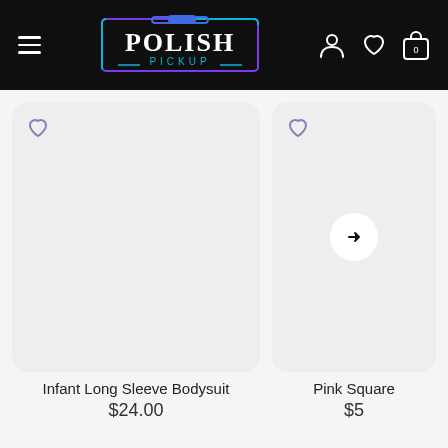Polish Pickup — navigation header with hamburger menu, logo, user icon, wishlist icon, and cart (0)
[Figure (screenshot): Product image placeholder card for Infant Long Sleeve Bodysuit with heart/wishlist icon, light gray background]
Infant Long Sleeve Bodysuit
$24.00
[Figure (screenshot): Partially visible second product card for Pink Square item, with heart icon and right arrow navigation button]
Pink Square
$5